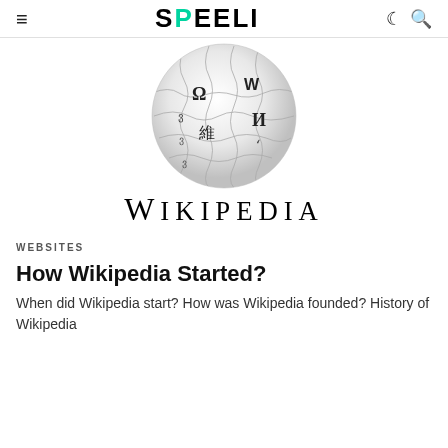≡  SPEELI
[Figure (logo): Wikipedia globe logo puzzle ball with various language characters (Ω, W, И, 維, etc.) followed by the Wikipedia wordmark text in serif font]
WEBSITES
How Wikipedia Started?
When did Wikipedia start? How was Wikipedia founded? History of Wikipedia